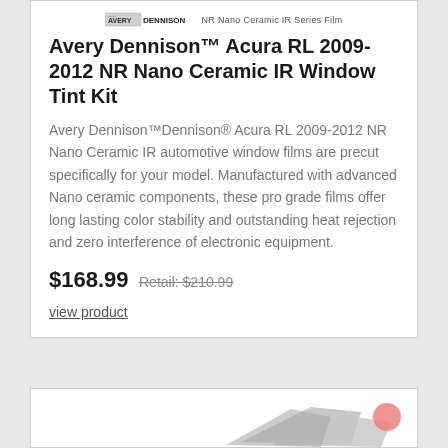[Figure (logo): Avery Dennison logo with text 'NR Nano Ceramic IR Series Film']
Avery Dennison™ Acura RL 2009-2012 NR Nano Ceramic IR Window Tint Kit
Avery Dennison™Dennison® Acura RL 2009-2012 NR Nano Ceramic IR automotive window films are precut specifically for your model. Manufactured with advanced Nano ceramic components, these pro grade films offer long lasting color stability and outstanding heat rejection and zero interference of electronic equipment.
$168.99 Retail: $210.99
view product
[Figure (photo): Partial view of window tint film sheets for a vehicle, showing grey/silver cut film pieces]